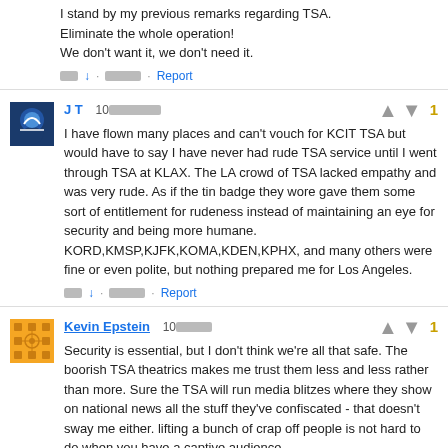I stand by my previous remarks regarding TSA. Eliminate the whole operation! We don't want it, we don't need it.
👍 ↓ · ████ · Report
J T  10████
I have flown many places and can't vouch for KCIT TSA but would have to say I have never had rude TSA service until I went through TSA at KLAX. The LA crowd of TSA lacked empathy and was very rude. As if the tin badge they wore gave them some sort of entitlement for rudeness instead of maintaining an eye for security and being more humane. KORD,KMSP,KJFK,KOMA,KDEN,KPHX, and many others were fine or even polite, but nothing prepared me for Los Angeles.
👍 ↓ · ████ · Report
Kevin Epstein  10████
Security is essential, but I don't think we're all that safe. The boorish TSA theatrics makes me trust them less and less rather than more. Sure the TSA will run media blitzes where they show on national news all the stuff they've confiscated - that doesn't sway me either. lifting a bunch of crap off people is not hard to do when you have a captive audience.
Don't get me wrong - it's not the majority of the agents that are the problem, rather a small subset. The real problem is the bureaucrat posers who try con us into believing that they